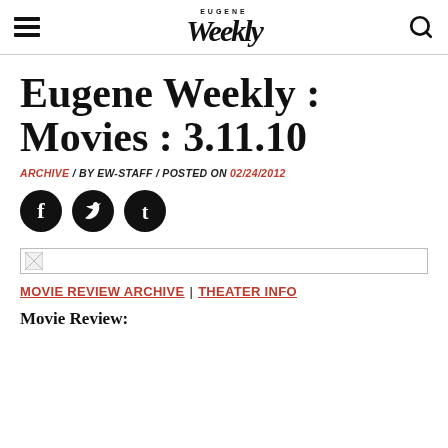EUGENE Weekly
Eugene Weekly : Movies : 3.11.10
ARCHIVE / BY EW-STAFF / POSTED ON 02/24/2012
[Figure (other): Social sharing icons: Facebook, Twitter, Tumblr]
[Figure (other): Broken image placeholder]
MOVIE REVIEW ARCHIVE | THEATER INFO
Movie Review: